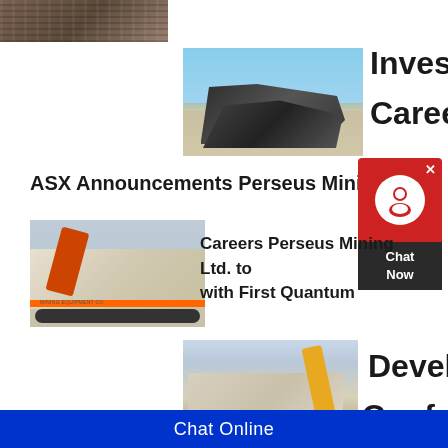[Figure (photo): Partial view of a mining facility or industrial structure, top-left corner]
[Figure (photo): Mining screening/crushing equipment against a blue sky]
Investor
Careers
ASX Announcements Perseus Mining Ltd
[Figure (other): Chat Now widget with red background and person icon]
[Figure (photo): Large white mobile crushing/mining machine on a truck]
Careers Perseus Mining Ltd. to with First Quantum
[Figure (photo): Yellow and white mining/construction equipment at a site]
Develop
Confere
gallery Perseus Mining Ltd. Prior to joining Perseus Mining
Chat Online